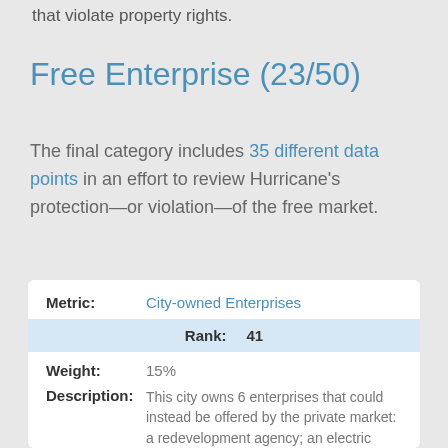that violate property rights.
Free Enterprise (23/50)
The final category includes 35 different data points in an effort to review Hurricane's protection—or violation—of the free market.
| Metric | City-owned Enterprises |
| --- | --- |
| Rank: | 41 |
| Weight: | 15% |
| Description: | This city owns 6 enterprises that could instead be offered by the private market: a redevelopment agency; an electric power company; a |